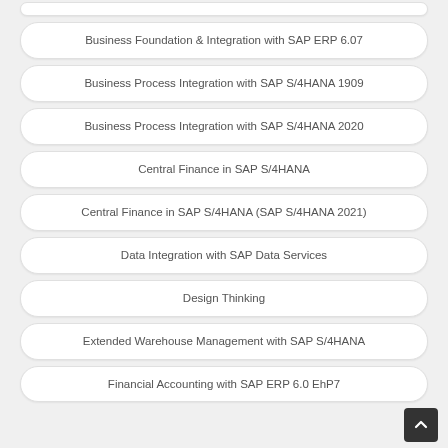Business Foundation & Integration with SAP ERP 6.07
Business Process Integration with SAP S/4HANA 1909
Business Process Integration with SAP S/4HANA 2020
Central Finance in SAP S/4HANA
Central Finance in SAP S/4HANA (SAP S/4HANA 2021)
Data Integration with SAP Data Services
Design Thinking
Extended Warehouse Management with SAP S/4HANA
Financial Accounting with SAP ERP 6.0 EhP7